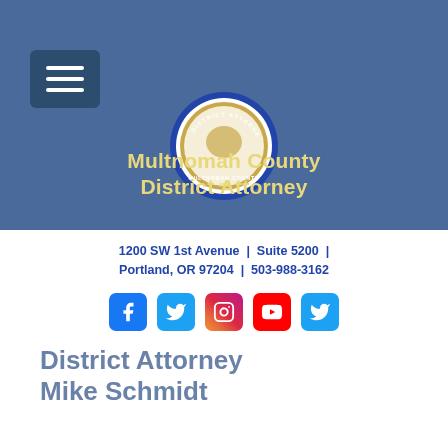[Figure (logo): Multnomah County District Attorney seal/logo with header banner including menu button]
Multnomah County District Attorney
1200 SW 1st Avenue | Suite 5200 | Portland, OR 97204 | 503-988-3162
[Figure (infographic): Social media icons: Facebook, Twitter, Instagram, YouTube, Twitter]
District Attorney Mike Schmidt